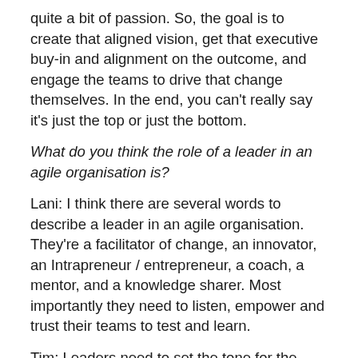quite a bit of passion. So, the goal is to create that aligned vision, get that executive buy-in and alignment on the outcome, and engage the teams to drive that change themselves. In the end, you can't really say it's just the top or just the bottom.
What do you think the role of a leader in an agile organisation is?
Lani: I think there are several words to describe a leader in an agile organisation. They're a facilitator of change, an innovator, an Intrapreneur / entrepreneur, a coach, a mentor, and a knowledge sharer. Most importantly they need to listen, empower and trust their teams to test and learn.
Tim: Leaders need to set the tone for the transformation. Far too often we rely on our coaches to come into the organisations and start driving change. That being said, I do believe that it's everyone's responsibility to start and drive change.
It doesn't matter what your role is, you can have a huge amount of influence. You've just got to have the